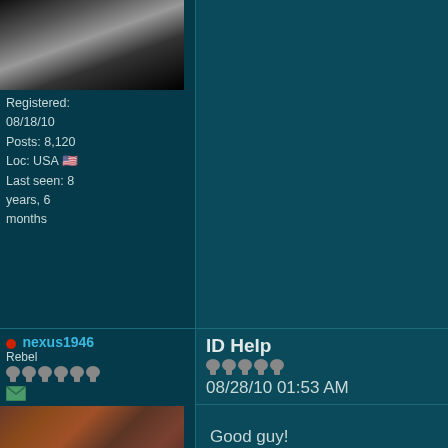[Figure (photo): Top user avatar - grayscale grunge style image]
Registered: 08/18/10
Posts: 8,120
Loc: USA 🇺🇸
Last seen: 8 years, 6 months
ID Help
08/28/10 01:53 AM
Good guy!

Thanks for the ID help! 😊🎸
nexus1946
Rebel
Registered: 06/25/09
Posts: 2,315
Loc: In the moment
Last seen: 6 years, 2 months
[Figure (photo): Middle user avatar - reddish-brown artistic image]
Fern
....eye
08/27/10 02:07 PM
[Figure (photo): Bottom user avatar - greenish image]